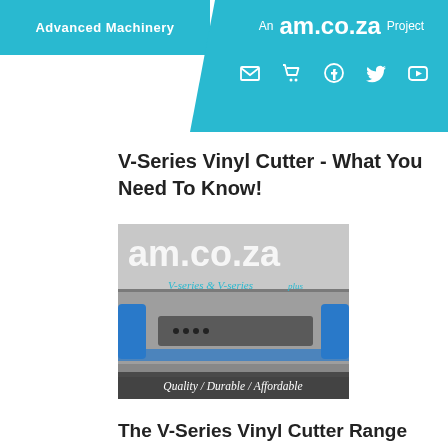Advanced Machinery | am.co.za — An am.co.za Project
V-Series Vinyl Cutter - What You Need To Know!
[Figure (photo): Photo of V-Series vinyl cutter machine with am.co.za branding and text 'V-Series & V-Series plus / Quality / Durable / Affordable']
The V-Series Vinyl Cutter Range from AM.CO.ZA Widel...
[Figure (photo): Partial view of printed media articles with text 'Best Vinyl-Cutting from AM...' and 'African Exponent', 'MYBE']